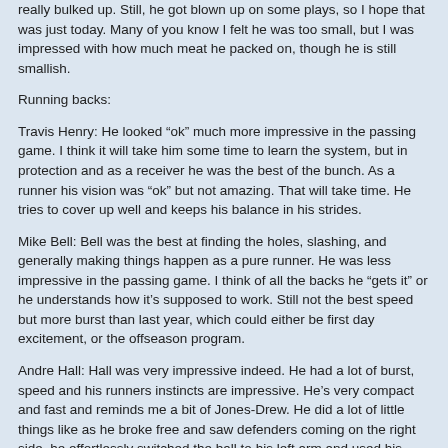really bulked up. Still, he got blown up on some plays, so I hope that was just today. Many of you know I felt he was too small, but I was impressed with how much meat he packed on, though he is still smallish.
Running backs:
Travis Henry: He looked “ok” much more impressive in the passing game. I think it will take him some time to learn the system, but in protection and as a receiver he was the best of the bunch. As a runner his vision was “ok” but not amazing. That will take time. He tries to cover up well and keeps his balance in his strides.
Mike Bell: Bell was the best at finding the holes, slashing, and generally making things happen as a pure runner. He was less impressive in the passing game. I think of all the backs he “gets it” or he understands how it’s supposed to work. Still not the best speed but more burst than last year, which could either be first day excitement, or the offseason program.
Andre Hall: Hall was very impressive indeed. He had a lot of burst, speed and his runners instincts are impressive. He’s very compact and fast and reminds me a bit of Jones-Drew. He did a lot of little things like as he broke free and saw defenders coming on the right side, he effortlessly switched the ball to his left arm and used his right as a stiff arm. He would shift the ball depending on where the defenders were to protect it and would cover up in traffic. Great speed and vision. I was surprised.
Cecil Sapp: He pretty much ran right at guys and tried to bowl them over and I think that’s just his style. He didn’t break anything huge…